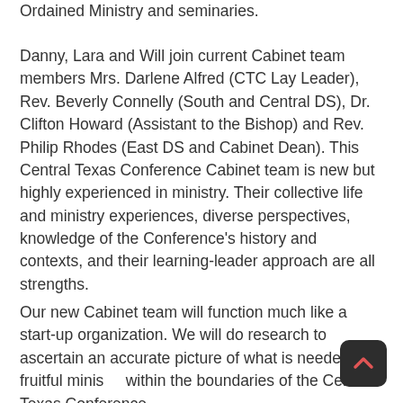Ordained Ministry and seminaries.
Danny, Lara and Will join current Cabinet team members Mrs. Darlene Alfred (CTC Lay Leader), Rev. Beverly Connelly (South and Central DS), Dr. Clifton Howard (Assistant to the Bishop) and Rev. Philip Rhodes (East DS and Cabinet Dean). This Central Texas Conference Cabinet team is new but highly experienced in ministry. Their collective life and ministry experiences, diverse perspectives, knowledge of the Conference's history and contexts, and their learning-leader approach are all strengths.
Our new Cabinet team will function much like a start-up organization. We will do research to ascertain an accurate picture of what is needed for fruitful ministry within the boundaries of the Central Texas Conference